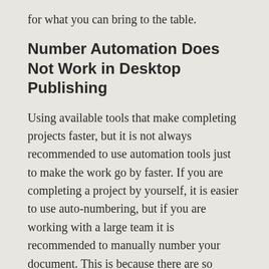for what you can bring to the table.
Number Automation Does Not Work in Desktop Publishing
Using available tools that make completing projects faster, but it is not always recommended to use automation tools just to make the work go by faster. If you are completing a project by yourself, it is easier to use auto-numbering, but if you are working with a large team it is recommended to manually number your document. This is because there are so many different operating systems that could affect the final product- if everyone used different systems or versions of Word the finished product could end up being scattered and unorganized.
Format The Layout